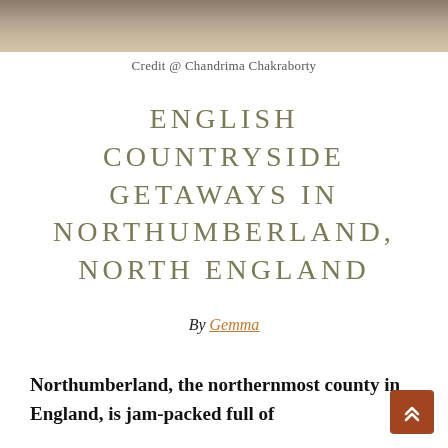[Figure (photo): Partial photo strip at top of page showing an English countryside or landscape scene, cropped]
Credit @ Chandrima Chakraborty
ENGLISH COUNTRYSIDE GETAWAYS IN NORTHUMBERLAND, NORTH ENGLAND
By Gemma
Northumberland, the northernmost county in England, is jam-packed full of